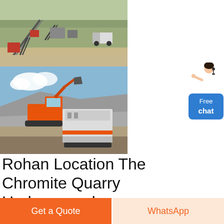[Figure (photo): Aerial view of a chromite quarry processing facility with conveyor belts, industrial machinery, and structures on a hillside]
[Figure (photo): Ground-level view of a mobile crusher/excavator (orange) working at a quarry or mining site with rocky terrain]
[Figure (photo): Customer service representative illustration next to a blue Free chat button]
Rohan Location The Chromite Quarry Underground
(partial text cut off at bottom)
Get a Quote
WhatsApp